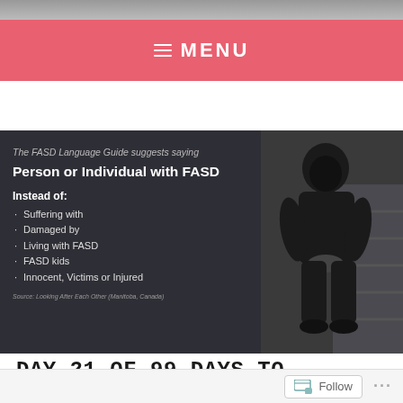MENU
[Figure (infographic): Infographic on dark background with text: 'The FASD Language Guide suggests saying Person or Individual with FASD Instead of: Suffering with, Damaged by, Living with FASD, FASD kids, Innocent, Victims or Injured'. Source: Looking After Each Other (Manitoba, Canada). Right side shows photo of young person in black hoodie sitting on steps.]
DAY 21 OF 99 DAYS TO FASDAY: FASD LANGUAGE GUIDE
Follow ...